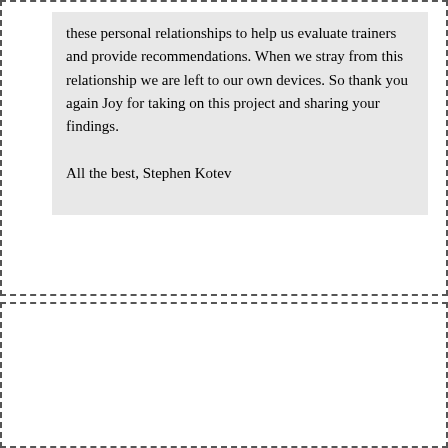these personal relationships to help us evaluate trainers and provide recommendations. When we stray from this relationship we are left to our own devices. So thank you again Joy for taking on this project and sharing your findings.

All the best, Stephen Kotev
Another Mediator contacts Jim about deceptive marketing practices by Mediation.com, specifically that they are representing themselves as calling from Mediate.com